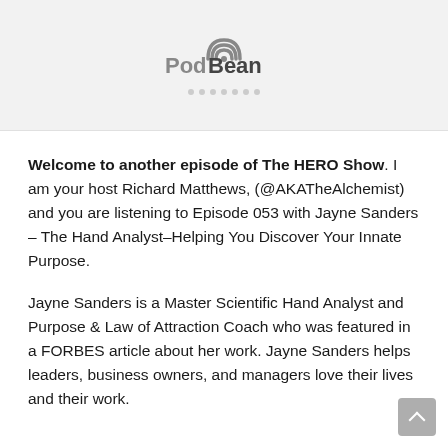[Figure (logo): PodBean podcast player logo with WiFi-style arc icon above the text 'PodBean' and decorative dots below]
Welcome to another episode of The HERO Show. I am your host Richard Matthews, (@AKATheAlchemist) and you are listening to Episode 053 with Jayne Sanders – The Hand Analyst–Helping You Discover Your Innate Purpose.
Jayne Sanders is a Master Scientific Hand Analyst and Purpose & Law of Attraction Coach who was featured in a FORBES article about her work. Jayne Sanders helps leaders, business owners, and managers love their lives and their work.